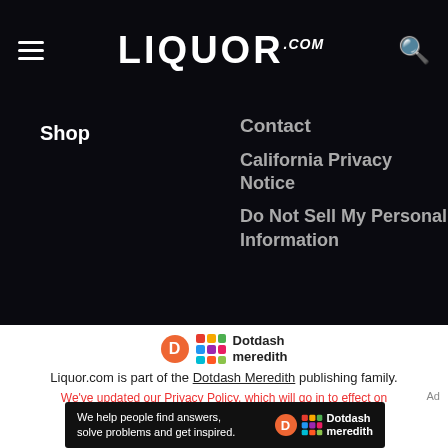LIQUOR.COM
Shop
Contact
California Privacy Notice
Do Not Sell My Personal Information
[Figure (logo): Dotdash Meredith logo with orange D circle and colorful grid icon]
Liquor.com is part of the Dotdash Meredith publishing family.
We've updated our Privacy Policy, which will go in to effect on September 1, 2022. Check it out here
Ad
[Figure (screenshot): Dotdash Meredith advertisement banner: We help people find answers, solve problems and get inspired.]